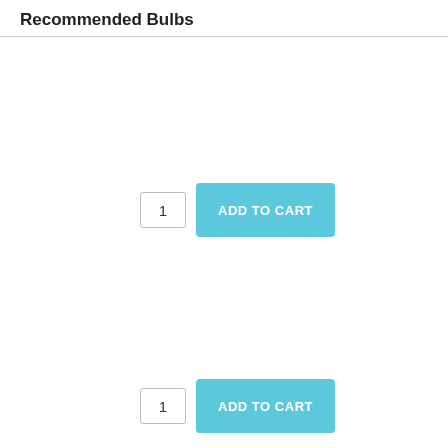Recommended Bulbs
[Figure (screenshot): Quantity input box showing '1' and an 'ADD TO CART' cyan button (first product)]
[Figure (screenshot): Quantity input box showing '1' and an 'ADD TO CART' cyan button (second product)]
DESCRIPTION
The handcrafted style of the Weave Pendant Light brings a natural flair to your space. Handwoven from straw fibres twisted into string, the shade has a natural finish and intricately woven design. This light